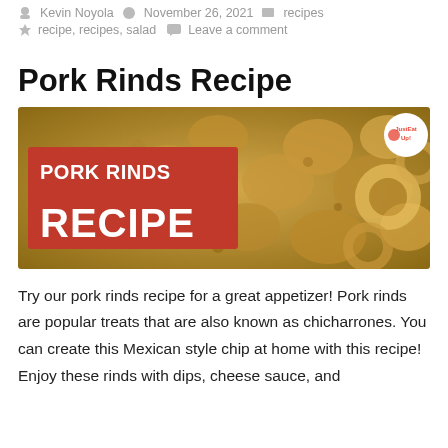Kevin Noyola   November 26, 2021   recipes
recipe, recipes, salad   Leave a comment
Pork Rinds Recipe
[Figure (photo): Close-up photo of pork rinds (chicharrones) with a red banner overlay reading 'PORK RINDS RECIPE' and a JustEatUp! logo circle in the top right corner.]
Try our pork rinds recipe for a great appetizer! Pork rinds are popular treats that are also known as chicharrones. You can create this Mexican style chip at home with this recipe! Enjoy these rinds with dips, cheese sauce, and